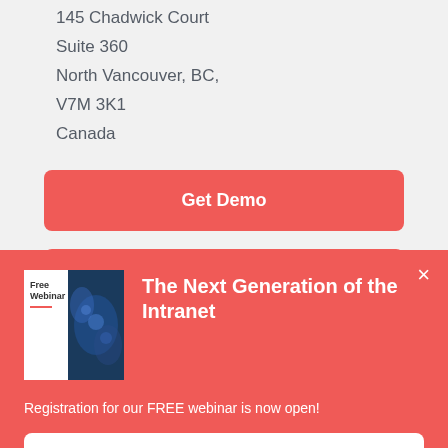145 Chadwick Court
Suite 360
North Vancouver, BC,
V7M 3K1
Canada
Get Demo
[Figure (screenshot): Popup overlay with red background. Contains a thumbnail image labeled 'Free Webinar' with blue abstract background, title 'The Next Generation of the Intranet', a close (×) button, text 'Registration for our FREE webinar is now open!', and a 'Register Now' button.]
The Next Generation of the Intranet
Registration for our FREE webinar is now open!
Register Now